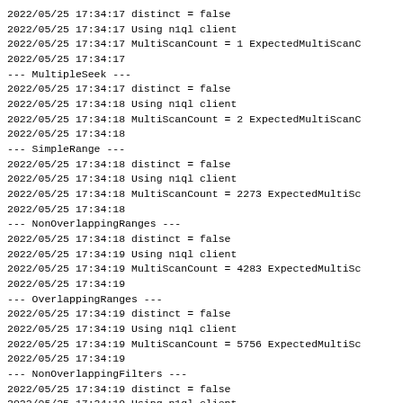2022/05/25 17:34:17 distinct = false
2022/05/25 17:34:17 Using n1ql client
2022/05/25 17:34:17 MultiScanCount = 1 ExpectedMultiScanC
2022/05/25 17:34:17
--- MultipleSeek ---
2022/05/25 17:34:17 distinct = false
2022/05/25 17:34:18 Using n1ql client
2022/05/25 17:34:18 MultiScanCount = 2 ExpectedMultiScanC
2022/05/25 17:34:18
--- SimpleRange ---
2022/05/25 17:34:18 distinct = false
2022/05/25 17:34:18 Using n1ql client
2022/05/25 17:34:18 MultiScanCount = 2273 ExpectedMultiSc
2022/05/25 17:34:18
--- NonOverlappingRanges ---
2022/05/25 17:34:18 distinct = false
2022/05/25 17:34:19 Using n1ql client
2022/05/25 17:34:19 MultiScanCount = 4283 ExpectedMultiSc
2022/05/25 17:34:19
--- OverlappingRanges ---
2022/05/25 17:34:19 distinct = false
2022/05/25 17:34:19 Using n1ql client
2022/05/25 17:34:19 MultiScanCount = 5756 ExpectedMultiSc
2022/05/25 17:34:19
--- NonOverlappingFilters ---
2022/05/25 17:34:19 distinct = false
2022/05/25 17:34:19 Using n1ql client
2022/05/25 17:34:19 MultiScanCount = 337 ExpectedMultiSca
2022/05/25 17:34:19
--- OverlappingFilters ---